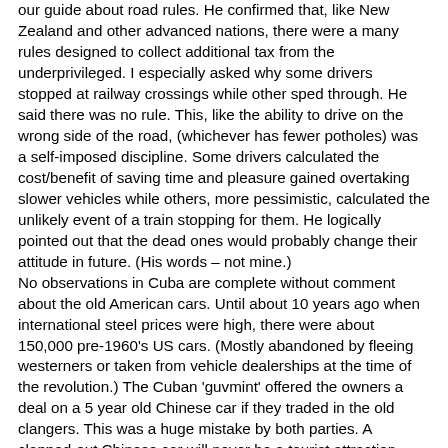our guide about road rules. He confirmed that, like New Zealand and other advanced nations, there were a many rules designed to collect additional tax from the underprivileged. I especially asked why some drivers stopped at railway crossings while other sped through. He said there was no rule. This, like the ability to drive on the wrong side of the road, (whichever has fewer potholes) was a self-imposed discipline. Some drivers calculated the cost/benefit of saving time and pleasure gained overtaking slower vehicles while others, more pessimistic, calculated the unlikely event of a train stopping for them. He logically pointed out that the dead ones would probably change their attitude in future. (His words – not mine.) No observations in Cuba are complete without comment about the old American cars. Until about 10 years ago when international steel prices were high, there were about 150,000 pre-1960's US cars. (Mostly abandoned by fleeing westerners or taken from vehicle dealerships at the time of the revolution.) The Cuban 'guvmint' offered the owners a deal on a 5 year old Chinese car if they traded in the old clangers. This was a huge mistake by both parties. A clapped-out Chinese car will never be a tourist attraction. (Indeed, the owners of these substandard cars are already realizing there is a motorcycle or even a horse in their future.) The remaining 60,000